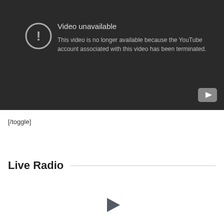[Figure (screenshot): YouTube video unavailable error screen with dark background. Shows an exclamation mark in a circle icon, text 'Video unavailable' and 'This video is no longer available because the YouTube account associated with this video has been terminated.' A YouTube play button icon appears in the bottom right corner.]
[/toggle]
Live Radio
[Figure (other): A dark grey play button triangle icon centered horizontally, part of a live radio player interface.]